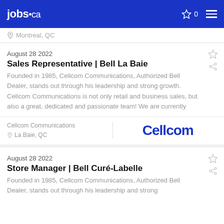jobs.ca · 0 · menu
Montreal, QC
August 28 2022
Sales Representative | Bell La Baie
Founded in 1985, Cellcom Communications, Authorized Bell Dealer, stands out through his leadership and strong growth. Cellcom Communications is not only retail and business sales, but also a great, dedicated and passionate team! We are currently
Cellcom Communications
La Baie, QC
[Figure (logo): Cellcom company logo in dark blue bold text]
August 28 2022
Store Manager | Bell Curé-Labelle
Founded in 1985, Cellcom Communications, Authorized Bell Dealer, stands out through his leadership and strong